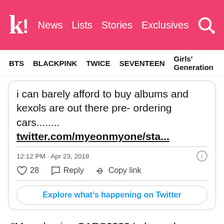k! News  Lists  Stories  Exclusives
BTS  BLACKPINK  TWICE  SEVENTEEN  Girls' Generation
[Figure (screenshot): Embedded tweet screenshot: 'i can barely afford to buy albums and kexols are out there pre- ordering cars........ twitter.com/myeonmyone/sta...' | 12:12 PM · Apr 23, 2018 | 28 likes | Reply | Copy link | Explore what's happening on Twitter]
“Mass-buying CARS???? I always know EXO-Ls are rich fandom but this is another level.”
“EXO-Ls’s purchasing power is awesome.”